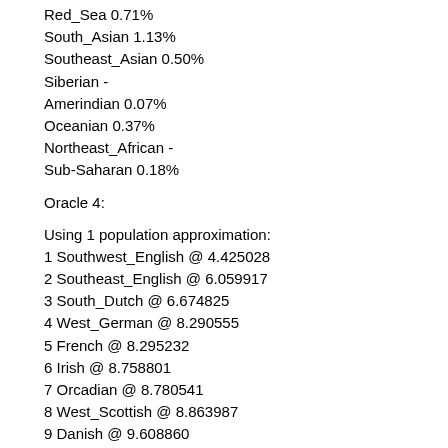Red_Sea 0.71%
South_Asian 1.13%
Southeast_Asian 0.50%
Siberian -
Amerindian 0.07%
Oceanian 0.37%
Northeast_African -
Sub-Saharan 0.18%
Oracle 4:
Using 1 population approximation:
1 Southwest_English @ 4.425028
2 Southeast_English @ 6.059917
3 South_Dutch @ 6.674825
4 West_German @ 8.290555
5 French @ 8.295232
6 Irish @ 8.758801
7 Orcadian @ 8.780541
8 West_Scottish @ 8.863987
9 Danish @ 9.608860
10 North_Dutch @ 9.632903
11 North_German @ 10.414415
12 Norwegian @ 12.832091
13 West_Norwegian @ 13.500070
14 Swedish @ 14.688621
15 Spanish_Cataluna @ 16.431019
16 Spanish_Galicia @ 16.444757
17 East_German @ 16.567297
18 North_Swedish @ 17.255276
19 Portugueso @ 17.611937